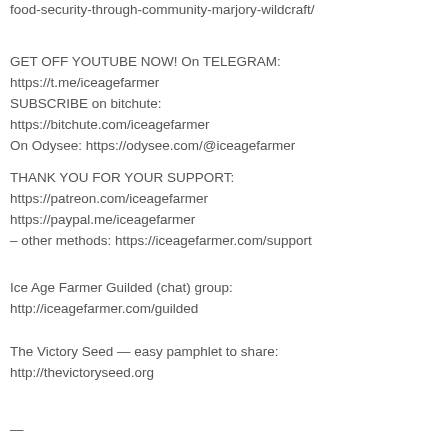food-security-through-community-marjory-wildcraft/
GET OFF YOUTUBE NOW! On TELEGRAM:
https://t.me/iceagefarmer
SUBSCRIBE on bitchute:
https://bitchute.com/iceagefarmer
On Odysee: https://odysee.com/@iceagefarmer
THANK YOU FOR YOUR SUPPORT:
https://patreon.com/iceagefarmer
https://paypal.me/iceagefarmer
– other methods: https://iceagefarmer.com/support
Ice Age Farmer Guilded (chat) group:
http://iceagefarmer.com/guilded
The Victory Seed — easy pamphlet to share:
http://thevictoryseed.org
—